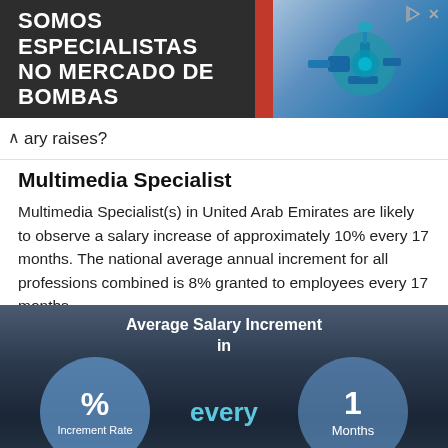[Figure (photo): Advertisement banner: dark background with text 'SOMOS ESPECIALISTAS NO MERCADO DE BOMBAS' in white bold uppercase, a red diagonal stripe, and a blue industrial pump illustration on the right. Close/skip icons at top right.]
...ary raises?
Multimedia Specialist
Multimedia Specialist(s) in United Arab Emirates are likely to observe a salary increase of approximately 10% every 17 months. The national average annual increment for all professions combined is 8% granted to employees every 17 months.
[Figure (infographic): Average Salary Increment infographic with dark background showing two circles: left circle with '%' symbol and 'Increment Rate' label, center text 'every', right circle with '1' and 'Months' label.]